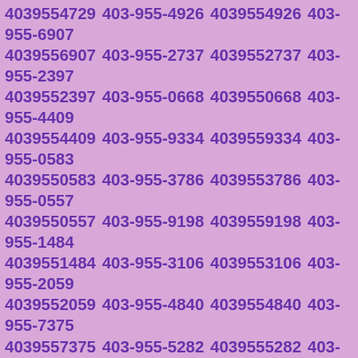4039554729 403-955-4926 4039554926 403-955-6907 4039556907 403-955-2737 4039552737 403-955-2397 4039552397 403-955-0668 4039550668 403-955-4409 4039554409 403-955-9334 4039559334 403-955-0583 4039550583 403-955-3786 4039553786 403-955-0557 4039550557 403-955-9198 4039559198 403-955-1484 4039551484 403-955-3106 4039553106 403-955-2059 4039552059 403-955-4840 4039554840 403-955-7375 4039557375 403-955-5282 4039555282 403-955-6791 4039556791 403-955-4040 4039554040 403-955-7019 4039557019 403-955-9938 4039559938 403-955-7760 4039557760 403-955-7094 4039557094 403-955-4066 4039554066 403-955-8299 4039558299 403-955-5910 4039555910 403-955-0824 4039550824 403-955-3003 4039553003 403-955-9630 4039559630 403-955-7183 4039557183 403-955-4893 4039554893 403-955-9693 4039559693 403-955-5108 4039555108 403-955-5339 4039555339 403-955-8661 4039558661 403-955-4623 4039554623 403-955-9562 4039559562 403-955-5265 4039555265 403-955-2931 4039552931 403-955-8134 4039558134 403-955-2598 4039552598 403-955-9431